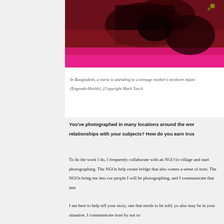[Figure (photo): Photo of a nurse attending to a teenage mother's newborn infant in Bangladesh, showing dark figures against a red and pink background (EngenderHealth)]
In Bangladesh, a nurse is attending to a teenage mother's newborn infant (EngenderHealth). (Copyright Mark Tusch
You've photographed in many locations around the world... relationships with your subjects? How do you earn trus
To do the work I do, I frequently collaborate with an NGO [n village and start photographing. The NGOs help create bridge that also comes a sense of trust. The NGOs bring me into co people I will be photographing, and I communicate that inte
I am here to help tell your story, one that needs to be told; y also may be in your situation. I communicate trust by not ru